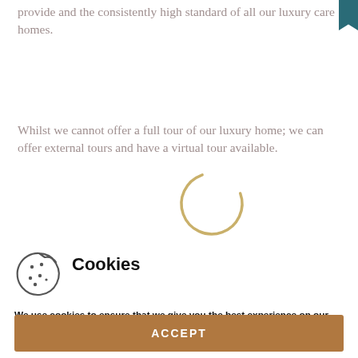provide and the consistently high standard of all our luxury care homes.
Whilst we cannot offer a full tour of our luxury home; we can offer external tours and have a virtual tour available.
[Figure (other): Circular loading spinner in gold/tan color, partially drawn arc indicating loading state]
Cookies
[Figure (illustration): Cookie icon — circular outline with dots and a bite taken out, representing browser cookies]
We use cookies to ensure that we give you the best experience on our website more information
ACCEPT